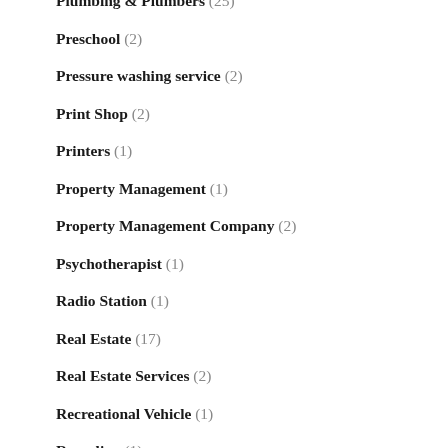Plumbing & Plumbers (25)
Preschool (2)
Pressure washing service (2)
Print Shop (2)
Printers (1)
Property Management (1)
Property Management Company (2)
Psychotherapist (1)
Radio Station (1)
Real Estate (17)
Real Estate Services (2)
Recreational Vehicle (1)
Recycling (1)